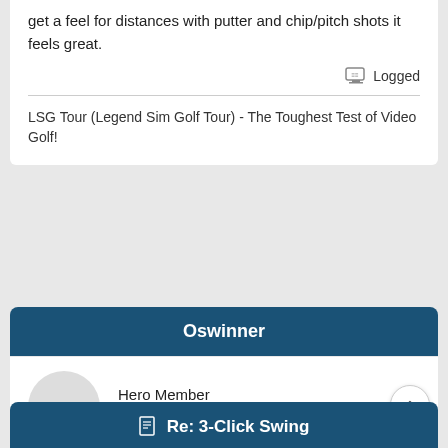get a feel for distances with putter and chip/pitch shots it feels great.
Logged
LSG Tour (Legend Sim Golf Tour) - The Toughest Test of Video Golf!
Oswinner
Hero Member
Posts: 1381
Re: 3-Click Swing